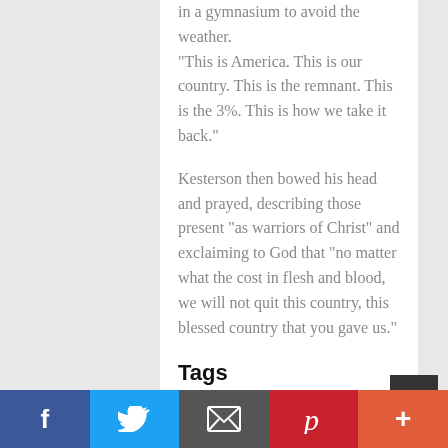in a gymnasium to avoid the weather. “This is America. This is our country. This is the remnant. This is the 3%. This is how we take it back.”
Kesterson then bowed his head and prayed, describing those present “as warriors of Christ” and exclaiming to God that “no matter what the cost in flesh and blood, we will not quit this country, this blessed country that you gave us.”
Tags
CHRISTIAN NATIONALISM / CONSPIRACY /